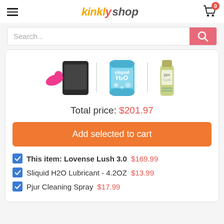[Figure (logo): Kinkly Shop logo with hamburger menu on left and shopping cart with 0 badge on right]
[Figure (screenshot): Search bar with 'Search...' placeholder text and pink search button]
[Figure (photo): Three product images: Lovense Lush 3.0 (pink wearable with phone), Sliquid H2O lubricant can (blue), and Pjur Cleaning Spray bottle]
Total price: $201.97
Add selected to cart
This item: Lovense Lush 3.0  $169.99
Sliquid H2O Lubricant - 4.2OZ  $13.99
Pjur Cleaning Spray  $17.99